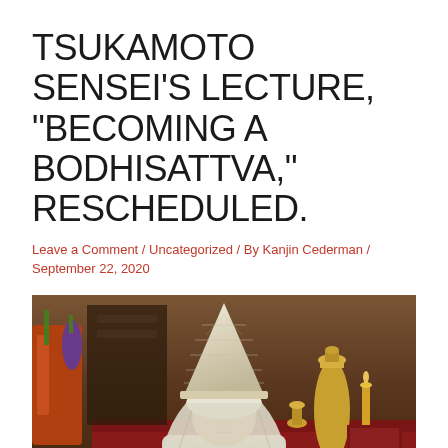TSUKAMOTO SENSEI’S LECTURE, “BECOMING A BODHISATTVA,” RESCHEDULED.
Leave a Comment / Uncategorized / By Kanjin Cederman / September 22, 2020
[Figure (photo): A Buddhist priest or monk wearing a tall white conical ceremonial hat and white robes, photographed in front of an altar with golden decorations and various offerings.]